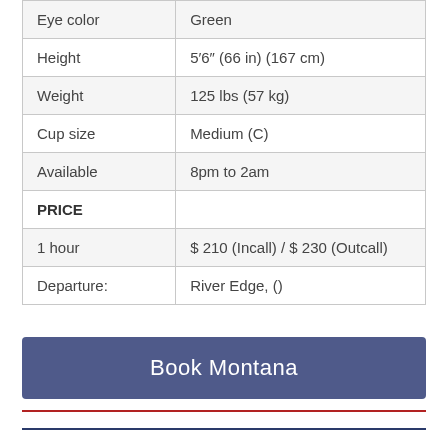| Eye color | Green |
| Height | 5‘6” (66 in) (167 cm) |
| Weight | 125 lbs (57 kg) |
| Cup size | Medium (C) |
| Available | 8pm to 2am |
| PRICE |  |
| 1 hour | $ 210 (Incall) / $ 230 (Outcall) |
| Departure: | River Edge, () |
Book Montana